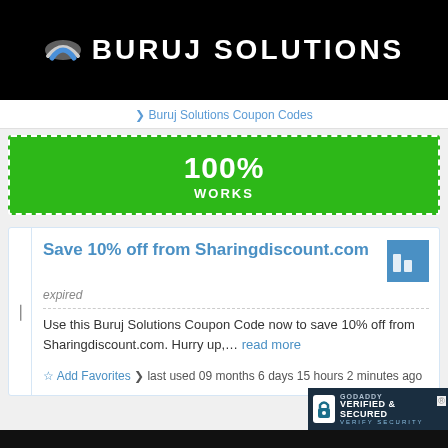[Figure (logo): Buruj Solutions logo on black background with white text and silver/blue swoosh icon]
❯ Buruj Solutions Coupon Codes
[Figure (infographic): Green banner with dashed white border showing 100% WORKS coupon badge]
Save 10% off from Sharingdiscount.com
expired
Use this Buruj Solutions Coupon Code now to save 10% off from Sharingdiscount.com. Hurry up,… read more
☆ Add Favorites ❯ last used 09 months 6 days 15 hours 2 minutes ago
[Figure (logo): GoDaddy Verified & Secured badge in dark blue/teal with padlock icon]